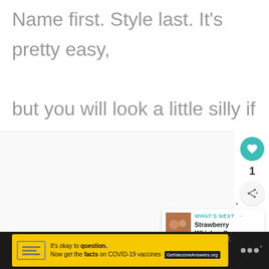Name first. Style last. It's pretty easy, but you will look a little silly if you do it the other way around.
[Figure (screenshot): Light gray content area below text]
[Figure (infographic): Like button (teal heart icon), like count '1', share button]
[Figure (infographic): What's Next panel with thumbnail and text 'Strawberry Whiskey Sour']
[Figure (infographic): Yellow advertisement banner: It's okay to question. Now get the facts on COVID-19 vaccines. GetVaccineAnswers.org]
[Figure (logo): Dark footer bar with dots logo on right]